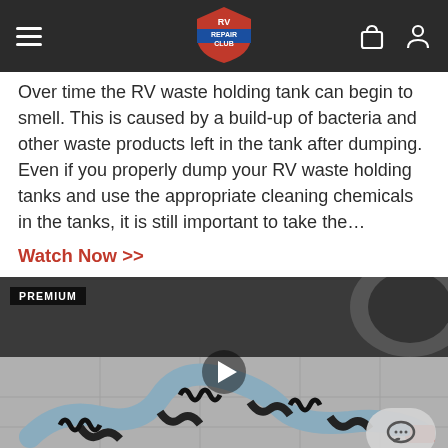RV Repair Club
Over time the RV waste holding tank can begin to smell. This is caused by a build-up of bacteria and other waste products left in the tank after dumping. Even if you properly dump your RV waste holding tanks and use the appropriate cleaning chemicals in the tanks, it is still important to take the…
Watch Now >>
[Figure (photo): Video thumbnail showing RV sewer hose and connections on a concrete floor, with a play button overlay. Labeled PREMIUM.]
Facebook | Twitter | Pinterest social share buttons